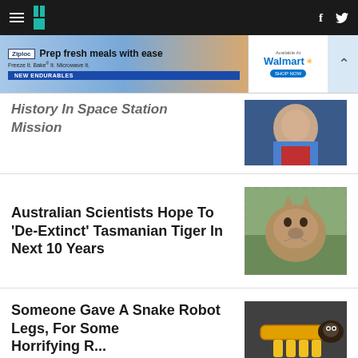HuffPost navigation bar with hamburger menu, logo, and social icons (f, Twitter)
[Figure (screenshot): Ziploc advertisement banner: 'Prep fresh meals with ease. Freeze It. Bake It. Microwave It. NEW ENDURABLES. Available At Walmart.']
History In Space Station Mission
[Figure (photo): Photo of a person in blue jacket and red shirt]
Australian Scientists Hope To ‘De-Extinct’ Tasmanian Tiger In Next 10 Years
[Figure (photo): Photo of a Tasmanian tiger (thylacine) in a cage]
Someone Gave A Snake Robot Legs, For Some Horrifying R...
[Figure (photo): Photo of a snake robot with yellow legs/feet attachment]